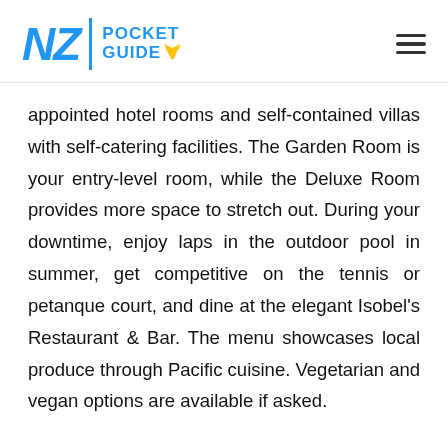NZ POCKET GUIDE
appointed hotel rooms and self-contained villas with self-catering facilities. The Garden Room is your entry-level room, while the Deluxe Room provides more space to stretch out. During your downtime, enjoy laps in the outdoor pool in summer, get competitive on the tennis or petanque court, and dine at the elegant Isobel's Restaurant & Bar. The menu showcases local produce through Pacific cuisine. Vegetarian and vegan options are available if asked.